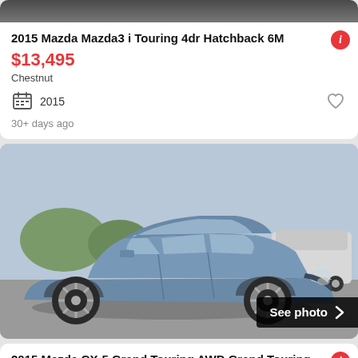[Figure (photo): Top portion of a car photo, cropped — dark background at top of first listing card]
2015 Mazda Mazda3 i Touring 4dr Hatchback 6M
$13,495
Chestnut
2015
30+ days ago
[Figure (photo): Blue/grey Mazda CX-5 SUV parked in a dealership lot, three-quarter front view. A 'See photo >' button overlay appears in the bottom right.]
2015 Mazda CX-5 Grand Touring AWD Grand Touring 4dr SUV
$18,995